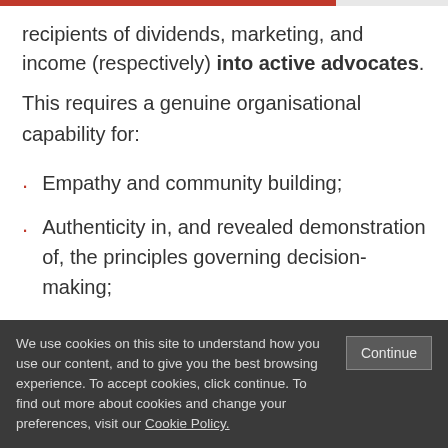recipients of dividends, marketing, and income (respectively) into active advocates.
This requires a genuine organisational capability for:
Empathy and community building;
Authenticity in, and revealed demonstration of, the principles governing decision-making;
We use cookies on this site to understand how you use our content, and to give you the best browsing experience. To accept cookies, click continue. To find out more about cookies and change your preferences, visit our Cookie Policy.